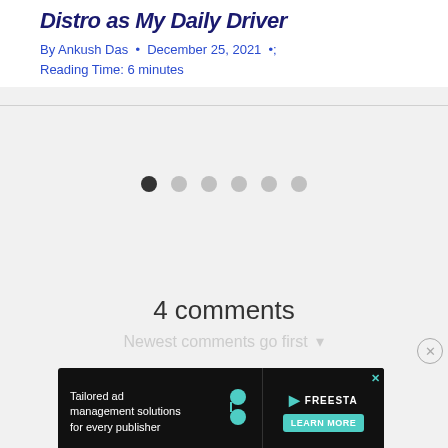Distro as My Daily Driver
By Ankush Das • December 25, 2021 • Reading Time: 6 minutes
[Figure (other): Slideshow pagination dots — one dark filled dot and five light gray dots indicating a 6-slide carousel]
4 comments
[Figure (other): Advertisement banner: Tailored ad management solutions for every publisher — FREESTAR LEARN MORE button with X close icon]